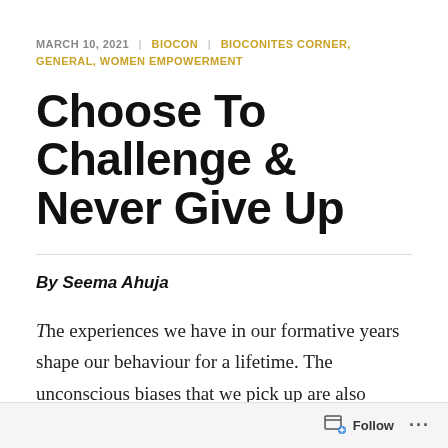MARCH 10, 2021 | BIOCON | BIOCONITES CORNER, GENERAL, WOMEN EMPOWERMENT
Choose To Challenge & Never Give Up
By Seema Ahuja
The experiences we have in our formative years shape our behaviour for a lifetime. The unconscious biases that we pick up are also